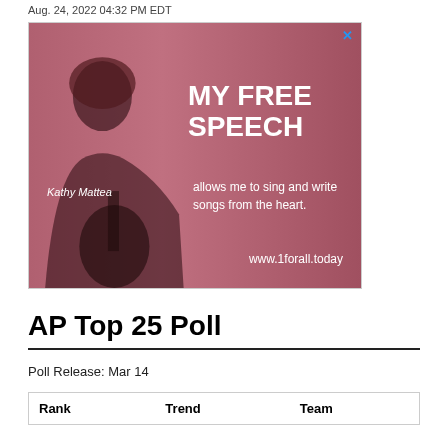Aug. 24, 2022 04:32 PM EDT
[Figure (photo): Advertisement featuring Kathy Mattea with text 'MY FREE SPEECH allows me to sing and write songs from the heart. www.1forall.today']
AP Top 25 Poll
Poll Release: Mar 14
| Rank | Trend | Team |
| --- | --- | --- |